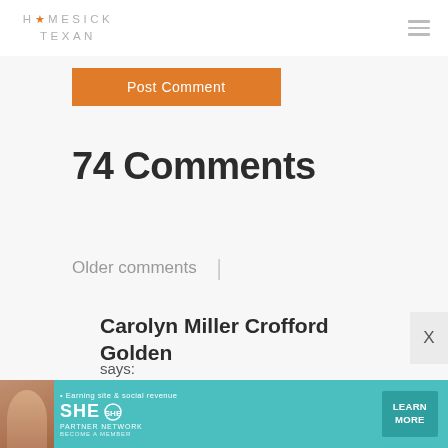HOMESICK TEXAN
Post Comment
74 Comments
Older comments |
Carolyn Miller Crofford Golden says:
[Figure (infographic): SHE Partner Network advertisement banner with photo of woman, text 'Earning site & social revenue', SHE logo, 'PARTNER NETWORK', 'BECOME A MEMBER', and 'LEARN MORE' button]